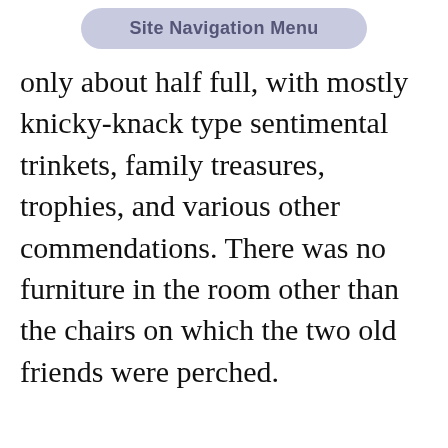Site Navigation Menu
only about half full, with mostly knicky-knack type sentimental trinkets, family treasures, trophies, and various other commendations. There was no furniture in the room other than the chairs on which the two old friends were perched.